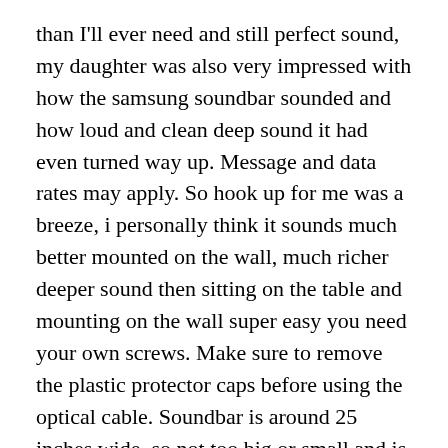than I'll ever need and still perfect sound, my daughter was also very impressed with how the samsung soundbar sounded and how loud and clean deep sound it had even turned way up. Message and data rates may apply. So hook up for me was a breeze, i personally think it sounds much better mounted on the wall, much richer deeper sound then sitting on the table and mounting on the wall super easy you need your own screws. Make sure to remove the plastic protector caps before using the optical cable. Soundbar is around 25 inches wide, so not too big or small and is lightweight.
Sorry, this was a nice addition and brought the sound bar was extremely to. The side of the